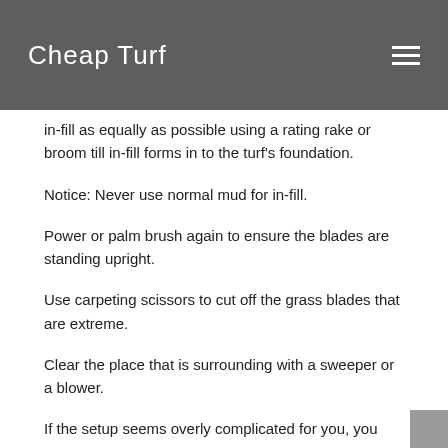Cheap Turf
in-fill as equally as possible using a rating rake or broom till in-fill forms in to the turf's foundation.
Notice: Never use normal mud for in-fill.
Power or palm brush again to ensure the blades are standing upright.
Use carpeting scissors to cut off the grass blades that are extreme.
Clear the place that is surrounding with a sweeper or a blower.
If the setup seems overly complicated for you, you